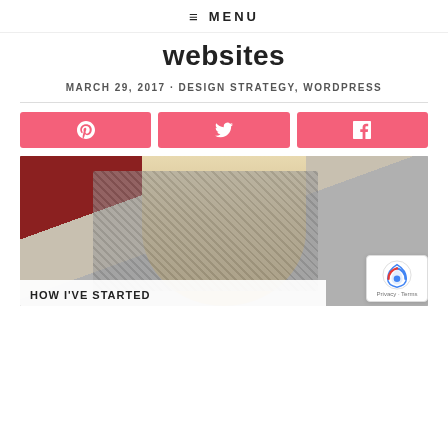≡ MENU
websites
MARCH 29, 2017 · DESIGN STRATEGY, WORDPRESS
[Figure (infographic): Three pink social sharing buttons: Pinterest, Twitter, Facebook]
[Figure (photo): Photo of a woman with blonde hair wearing a grey houndstooth top and cream cardigan. Overlay at bottom shows 'HOW I'VE STARTED' text. reCAPTCHA badge visible at bottom right.]